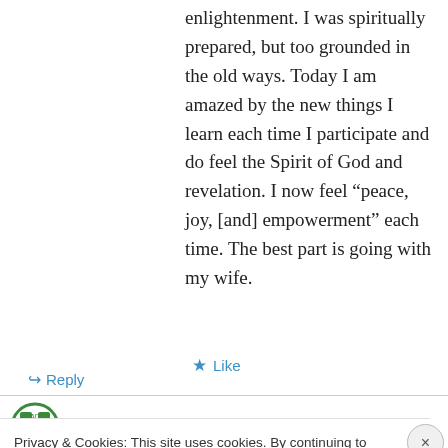enlightenment. I was spiritually prepared, but too grounded in the old ways. Today I am amazed by the new things I learn each time I participate and do feel the Spirit of God and revelation. I now feel “peace, joy, [and] empowerment” each time. The best part is going with my wife.
Like
Reply
Doug on May 16, 2012 at 5:57 am
Privacy & Cookies: This site uses cookies. By continuing to use this website, you agree to their use.
To find out more, including how to control cookies, see here: Cookie Policy
Close and accept